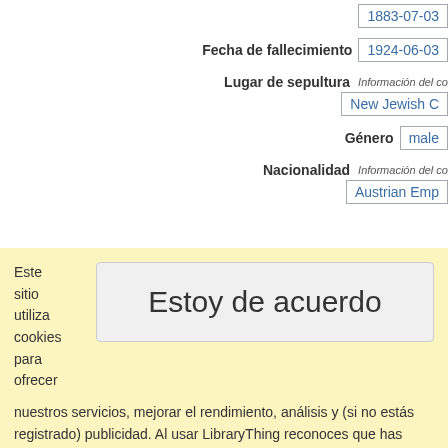| Field | Value |
| --- | --- |
|  | 1883-07-03 |
| Fecha de fallecimiento | 1924-06-03 |
| Lugar de sepultura | Información del co…
New Jewish C… |
| Género | male |
| Nacionalidad | Información del co…
Austrian Emp… |
Este sitio utiliza cookies para ofrecer
Estoy de acuerdo
nuestros servicios, mejorar el rendimiento, análisis y (si no estás registrado) publicidad. Al usar LibraryThing reconoces que has leído y comprendido nuestros Términos de Servicio y Política de Privacidad. El uso del sitio y de los servicios está sujeto a estas políticas y términos.